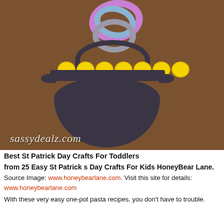[Figure (photo): A St. Patrick's Day craft showing a black paper cauldron/pot of gold hanging from colorful paper chain links (purple, blue, gray). Yellow paper coins sit on top of the pot. Background is a brown stucco wall. Watermark 'sassydealz.com' appears in bottom-left of image.]
Best St Patrick Day Crafts For Toddlers
from 25 Easy St Patrick s Day Crafts For Kids HoneyBear Lane.
Source Image: www.honeybearlane.com. Visit this site for details: www.honeybearlane.com
With these very easy one-pot pasta recipes, you don't have to trouble.